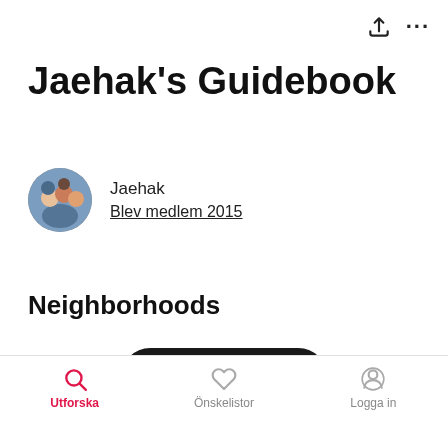Jaehak's Guidebook
Jaehak
Bled medlem 2015
Neighborhoods
[Figure (other): Dark pill-shaped button with text 'Visa karta' and a map/columns icon]
Utforska  Önskelistor  Logga in